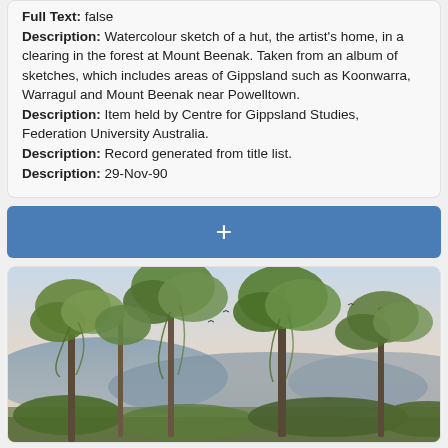Full Text: false
Description: Watercolour sketch of a hut, the artist's home, in a clearing in the forest at Mount Beenak. Taken from an album of sketches, which includes areas of Gippsland such as Koonwarra, Warragul and Mount Beenak near Powelltown.
Description: Item held by Centre for Gippsland Studies, Federation University Australia.
Description: Record generated from title list.
Description: 29-Nov-90
[Figure (other): Blue button/bar with a white plus sign (+) for adding items]
[Figure (illustration): Watercolour painting of Australian bush/forest scene with tall gum trees in the foreground, leafy branches, and blue-purple mountains in the background under a pale sky]